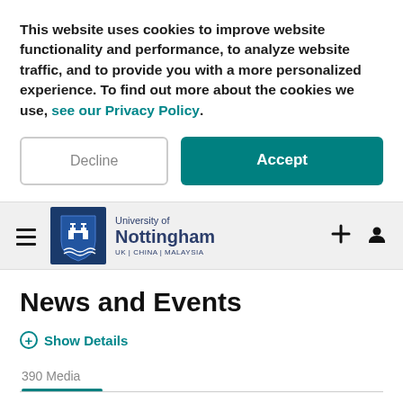This website uses cookies to improve website functionality and performance, to analyze website traffic, and to provide you with a more personalized experience. To find out more about the cookies we use, see our Privacy Policy.
Decline
Accept
[Figure (logo): University of Nottingham logo with shield icon and text 'University of Nottingham UK | CHINA | MALAYSIA', navigation hamburger menu and icons]
News and Events
Show Details
390 Media